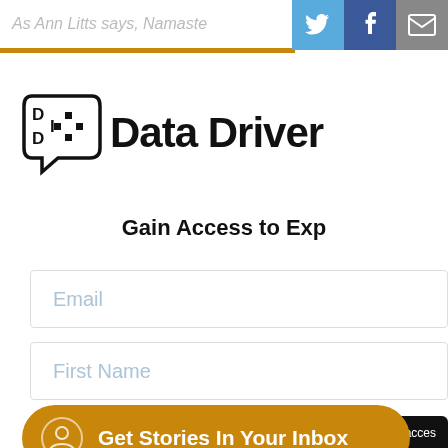As Ann Litts says, Namaste
[Figure (logo): Data Driven Investor logo with DDI icon and text 'Data Driven']
Gain Access to Exp
Email (input field placeholder)
First Name (input field placeholder)
Get Stories In Your Inbox